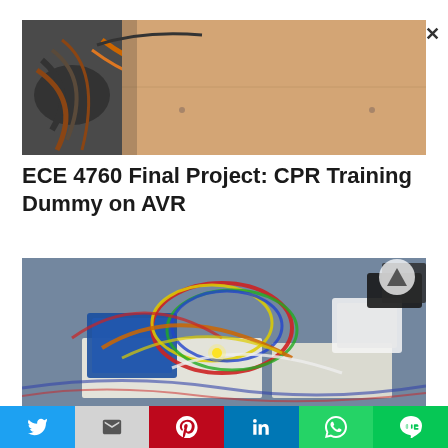[Figure (photo): Top portion of a CPR training dummy interior showing wiring and a wooden/cardboard panel]
ECE 4760 Final Project: CPR Training Dummy on AVR
[Figure (photo): Interior electronics of the CPR training dummy showing colorful wiring, breadboards, and AVR microcontroller components in a blue plastic bin]
Social sharing bar with Twitter, Gmail, Pinterest, LinkedIn, WhatsApp, LINE buttons